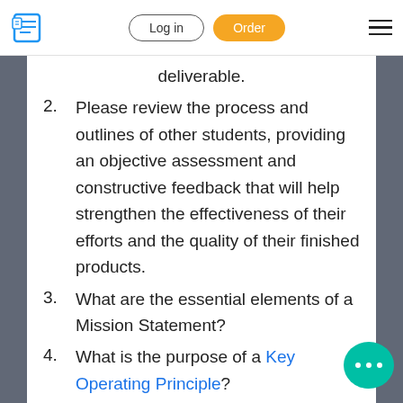Log in | Order
deliverable.
2. Please review the process and outlines of other students, providing an objective assessment and constructive feedback that will help strengthen the effectiveness of their efforts and the quality of their finished products.
3. What are the essential elements of a Mission Statement?
4. What is the purpose of a Key Operating Principle?